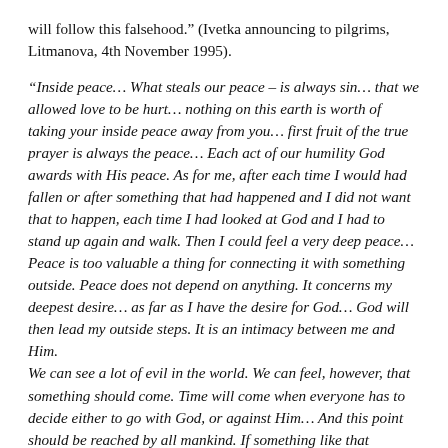will follow this falsehood." (Ivetka announcing to pilgrims, Litmanova, 4th November 1995).
"Inside peace... What steals our peace – is always sin... that we allowed love to be hurt... nothing on this earth is worth of taking your inside peace away from you... first fruit of the true prayer is always the peace... Each act of our humility God awards with His peace. As for me, after each time I would had fallen or after something that had happened and I did not want that to happen, each time I had looked at God and I had to stand up again and walk. Then I could feel a very deep peace... Peace is too valuable a thing for connecting it with something outside. Peace does not depend on anything. It concerns my deepest desire... as far as I have the desire for God... God will then lead my outside steps. It is an intimacy between me and Him.
We can see a lot of evil in the world. We can feel, however, that something should come. Time will come when everyone has to decide either to go with God, or against Him... And this point should be reached by all mankind. If something like that happens, it will be